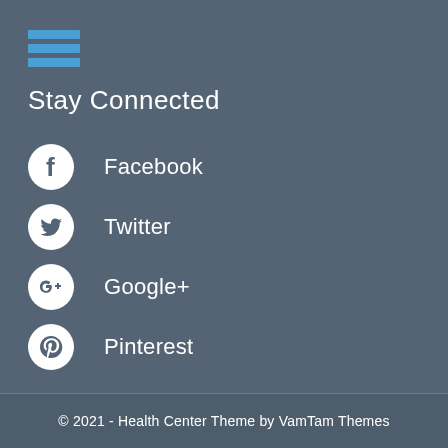[Figure (infographic): Blue hamburger menu icon with three horizontal bars]
Stay Connected
Facebook
Twitter
Google+
Pinterest
© 2021 - Health Center Theme by VamTam Themes